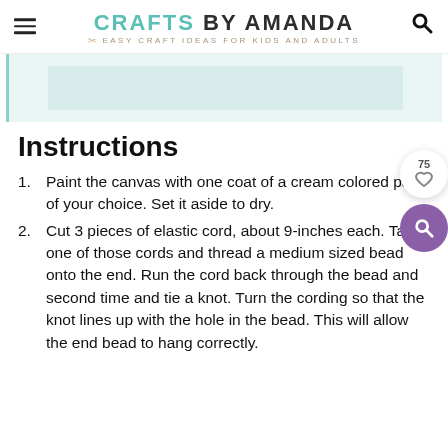CRAFTS BY AMANDA — EASY CRAFT IDEAS FOR KIDS AND ADULTS
[Figure (other): Advertisement banner placeholder area with light teal background]
Instructions
Paint the canvas with one coat of a cream colored paint of your choice. Set it aside to dry.
Cut 3 pieces of elastic cord, about 9-inches each. Take one of those cords and thread a medium sized bead onto the end. Run the cord back through the bead and second time and tie a knot. Turn the cording so that the knot lines up with the hole in the bead. This will allow the end bead to hang correctly.